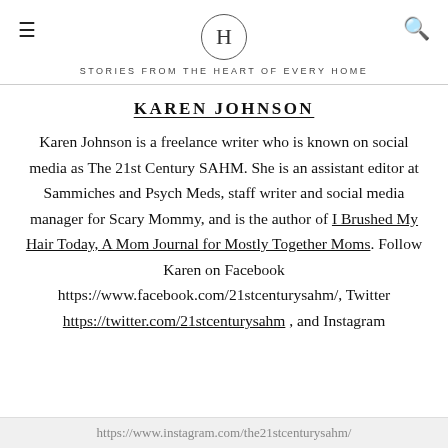H — STORIES FROM THE HEART OF EVERY HOME
KAREN JOHNSON
Karen Johnson is a freelance writer who is known on social media as The 21st Century SAHM. She is an assistant editor at Sammiches and Psych Meds, staff writer and social media manager for Scary Mommy, and is the author of I Brushed My Hair Today, A Mom Journal for Mostly Together Moms. Follow Karen on Facebook https://www.facebook.com/21stcenturysahm/, Twitter https://twitter.com/21stcenturysahm , and Instagram
https://www.instagram.com/the21stcenturysahm/